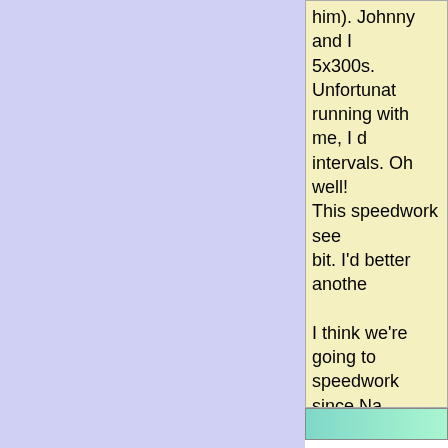him). Johnny and I 5x300s. Unfortunat running with me, I d intervals. Oh well! This speedwork see bit. I'd better anothe
I think we're going to speedwork since Na out to Boston!
| Slow miles |  |
| --- | --- |
| 0.00 |  |
Hmmm, I'm trying to Saturday was: the K party later that night
Saturday morning, J group out in Kearns people and 1 dog), and the Salt Lake H drills: 10x50 meter s intervals, then 6x~3 didn't get enough, 6